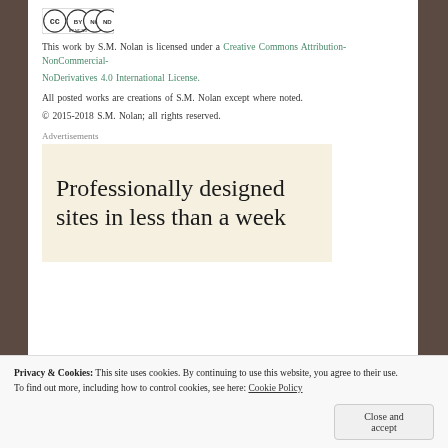[Figure (logo): Creative Commons BY NC ND license badge]
This work by S.M. Nolan is licensed under a Creative Commons Attribution-NonCommercial-NoDerivatives 4.0 International License.
All posted works are creations of S.M. Nolan except where noted.
© 2015-2018 S.M. Nolan; all rights reserved.
Advertisements
[Figure (screenshot): Advertisement: Professionally designed sites in less than a week]
Privacy & Cookies: This site uses cookies. By continuing to use this website, you agree to their use. To find out more, including how to control cookies, see here: Cookie Policy
Close and accept